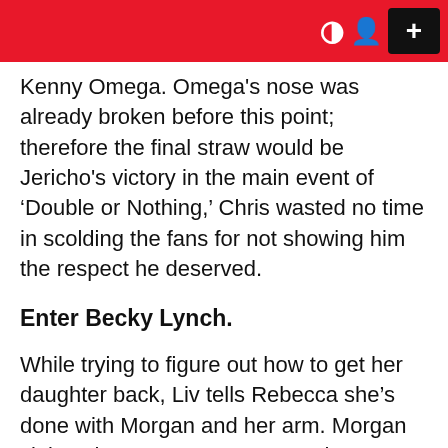Kenny Omega. Omega's nose was already broken before this point; therefore the final straw would be Jericho's victory in the main event of 'Double or Nothing,' Chris wasted no time in scolding the fans for not showing him the respect he deserved.
Enter Becky Lynch.
While trying to figure out how to get her daughter back, Liv tells Rebecca she's done with Morgan and her arm. Morgan claims that one arm was enough to pummel her ass, and Becky states it's getting hot under the lights. However, neither of them seems scared of the heat.